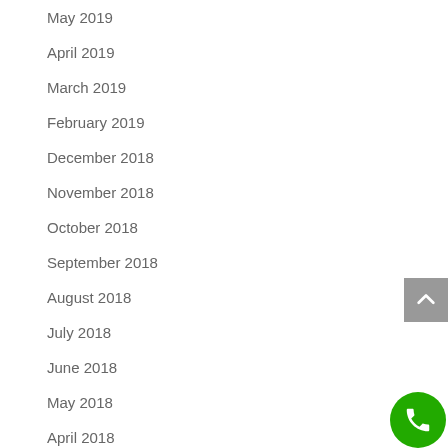May 2019
April 2019
March 2019
February 2019
December 2018
November 2018
October 2018
September 2018
August 2018
July 2018
June 2018
May 2018
April 2018
March 2018
February 2018